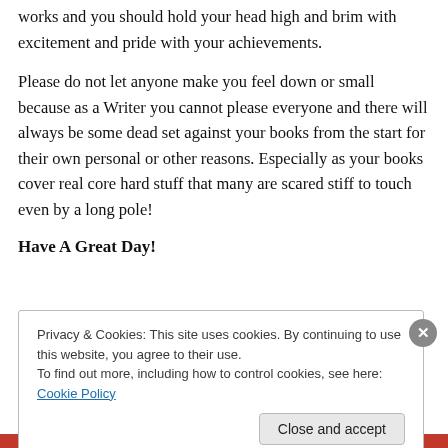works and you should hold your head high and brim with excitement and pride with your achievements.
Please do not let anyone make you feel down or small because as a Writer you cannot please everyone and there will always be some dead set against your books from the start for their own personal or other reasons. Especially as your books cover real core hard stuff that many are scared stiff to touch even by a long pole!
Have A Great Day!
Privacy & Cookies: This site uses cookies. By continuing to use this website, you agree to their use.
To find out more, including how to control cookies, see here: Cookie Policy